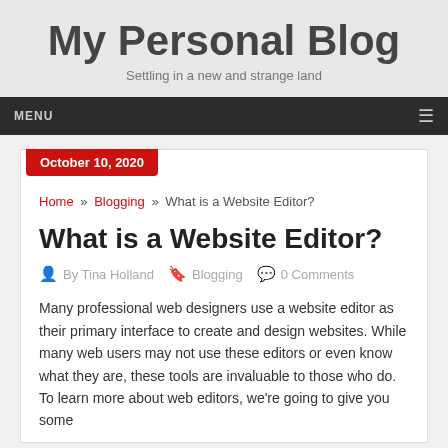My Personal Blog
Settling in a new and strange land
MENU ☰
October 10, 2020
Home » Blogging » What is a Website Editor?
What is a Website Editor?
By Tina Holland   Blogging   0 Comments
Many professional web designers use a website editor as their primary interface to create and design websites. While many web users may not use these editors or even know what they are, these tools are invaluable to those who do. To learn more about web editors, we're going to give you some